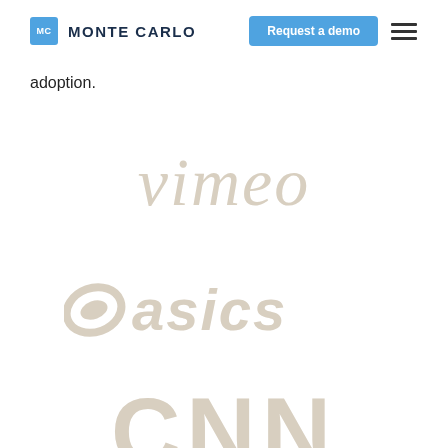MC MONTE CARLO | Request a demo
adoption.
[Figure (logo): Vimeo logo in light beige/tan color]
[Figure (logo): ASICS logo with swirl icon in light beige/tan color]
[Figure (logo): CNN logo in large bold letters, light beige/tan color, partially visible]